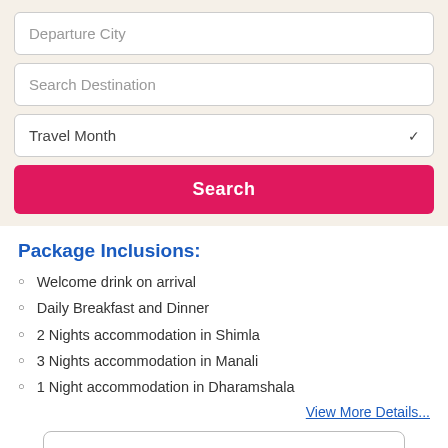Departure City
Search Destination
Travel Month
Search
Package Inclusions:
Welcome drink on arrival
Daily Breakfast and Dinner
2 Nights accommodation in Shimla
3 Nights accommodation in Manali
1 Night accommodation in Dharamshala
View More Details...
Customize This Package
Send Us Enquiry +